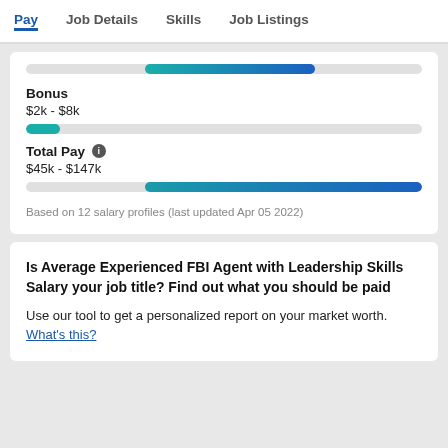Pay | Job Details | Skills | Job Listings
[Figure (infographic): Salary range progress bar (partially visible at top)]
Bonus
$2k - $8k
[Figure (infographic): Bonus range progress bar showing small teal pill at left]
Total Pay
$45k - $147k
[Figure (infographic): Total pay range progress bar, teal-to-blue fill from about 30% to 100%]
Based on 12 salary profiles (last updated Apr 05 2022)
Is Average Experienced FBI Agent with Leadership Skills Salary your job title? Find out what you should be paid
Use our tool to get a personalized report on your market worth. What's this?